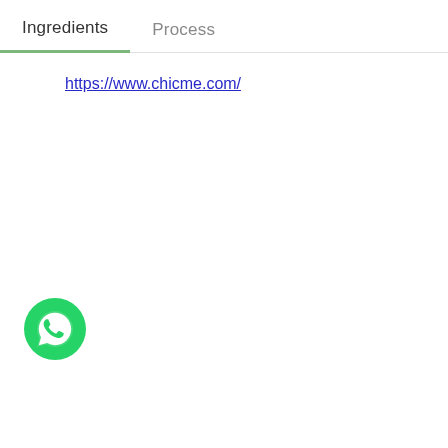Ingredients
Process
https://www.chicme.com/
[Figure (logo): WhatsApp floating action button — green circle with white WhatsApp speech-bubble phone icon]